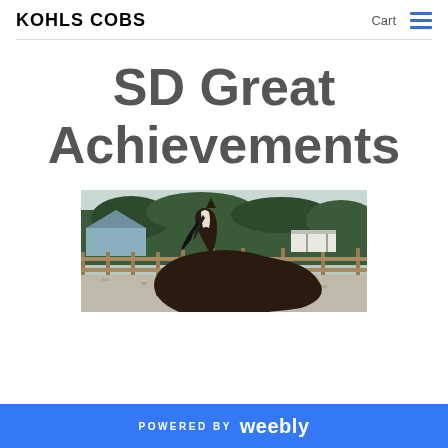KOHLS COBS   Cart ≡
SD Great Achievements
[Figure (photo): A dark brown horse with a black mane standing in a gravel paddock with wooden fencing, trees, a barn building and a horse trailer visible in the background under an overcast sky.]
POWERED BY weebly